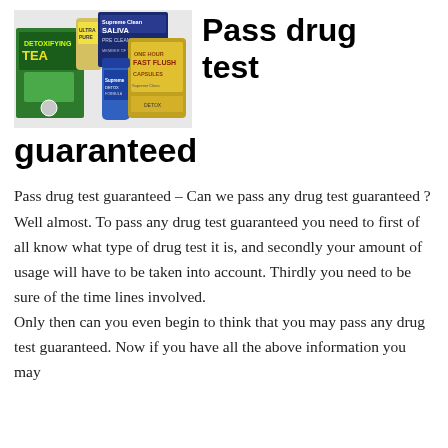[Figure (photo): Product photo showing various drug detox products including Detoxifying Tea box, Ultra Pure bottle, Saliva Pre Cleanse Caps box, a blue bottle, and One Hour Fast Flush Capsules bottle arranged together.]
Pass drug test guaranteed
Pass drug test guaranteed – Can we pass any drug test guaranteed ? Well almost. To pass any drug test guaranteed you need to first of all know what type of drug test it is, and secondly your amount of usage will have to be taken into account. Thirdly you need to be sure of the time lines involved.
Only then can you even begin to think that you may pass any drug test guaranteed. Now if you have all the above information you may